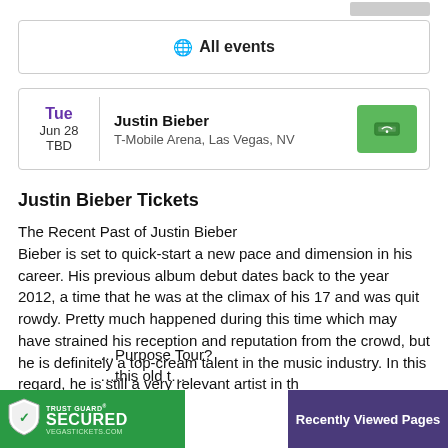All events
Tue Jun 28 TBD | Justin Bieber | T-Mobile Arena, Las Vegas, NV
Justin Bieber Tickets
The Recent Past of Justin Bieber
Bieber is set to quick-start a new pace and dimension in his career. His previous album debut dates back to the year 2012, a time that he was at the climax of his 17 and was quit rowdy. Pretty much happened during this time which may have strained his reception and reputation from the crowd, but he is definitely a top-cream talent in the music industry. In this regard, he is still a very relevant artist in th
music industry.
...Purpose Tour?
...this old t...
[Figure (screenshot): Trust Guard Secured badge - green background with shield icon, TRUST GUARD SECURED text, VEGASTICKETS.COM]
Recently Viewed Pages